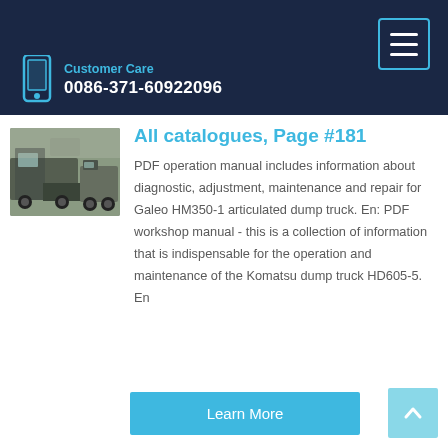Customer Care
0086-371-60922096
All catalogues, Page #181
[Figure (photo): Photo of heavy dump trucks parked outdoors]
PDF operation manual includes information about diagnostic, adjustment, maintenance and repair for Galeo HM350-1 articulated dump truck. En: PDF workshop manual - this is a collection of information that is indispensable for the operation and maintenance of the Komatsu dump truck HD605-5. En